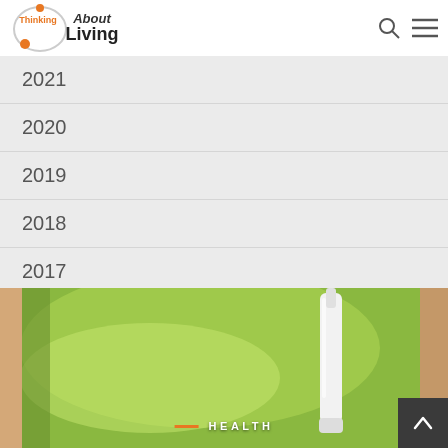Thinking About Living
2021
2020
2019
2018
2017
2016
2015
[Figure (photo): Close-up photo of a green leaf and a white medical device or dropper, with a person's hand visible on the right edge]
HEALTH